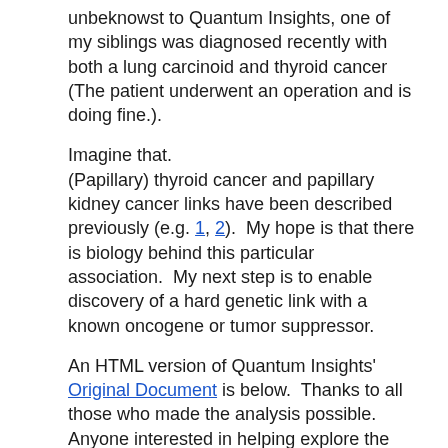unbeknowst to Quantum Insights, one of my siblings was diagnosed recently with both a lung carcinoid and thyroid cancer (The patient underwent an operation and is doing fine.).
Imagine that.
(Papillary) thyroid cancer and papillary kidney cancer links have been described previously (e.g. 1, 2).  My hope is that there is biology behind this particular association.  My next step is to enable discovery of a hard genetic link with a known oncogene or tumor suppressor.
An HTML version of Quantum Insights' Original Document is below.  Thanks to all those who made the analysis possible.  Anyone interested in helping explore the connection further please contact bill@rarekidneycancer.org.
Output of QuantumInsights.io's clustering algorithm